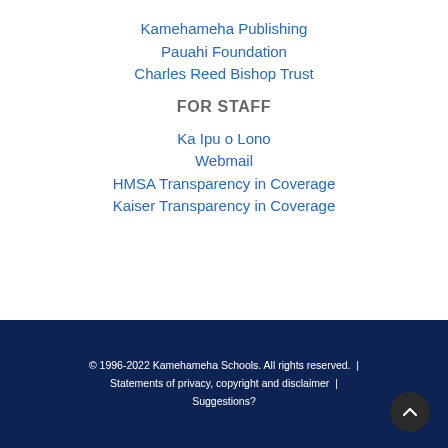Kamehameha Publishing
Pauahi Foundation
Charles Reed Bishop Trust
FOR STAFF
Ka Ipu o Lono
Webmail
HMSA Transparency in Coverage
Kaiser Transparency in Coverage
© 1996-2022 Kamehameha Schools. All rights reserved.  |  Statements of privacy, copyright and disclaimer  |  Suggestions?